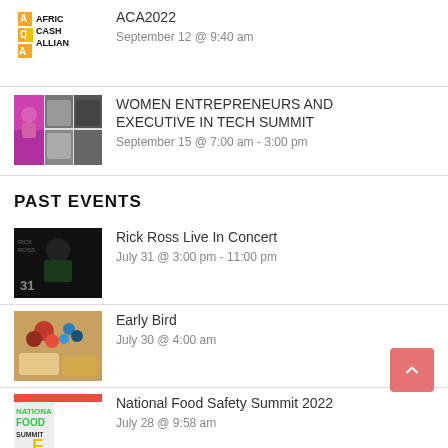ACA2022
September 12 @ 9:40 am
WOMEN ENTREPRENEURS AND EXECUTIVE IN TECH SUMMIT
September 15 @ 7:00 am - 3:00 pm
PAST EVENTS
Rick Ross Live In Concert
July 31 @ 3:00 pm - 11:00 pm
Early Bird
July 30 @ 4:00 am
National Food Safety Summit 2022
July 28 @ 9:58 am
ILCON 2022
July 26 @ 10:00 am